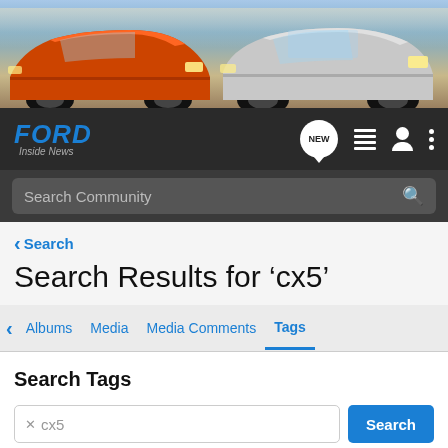[Figure (photo): Ford vehicle banner showing an orange Mustang on the left and a silver Ford F-150 truck on the right, with a sky backdrop.]
FORD Inside News
Search Community
< Search
Search Results for ‘cx5’
Albums  Media  Media Comments  Tags
Search Tags
cx5
Search